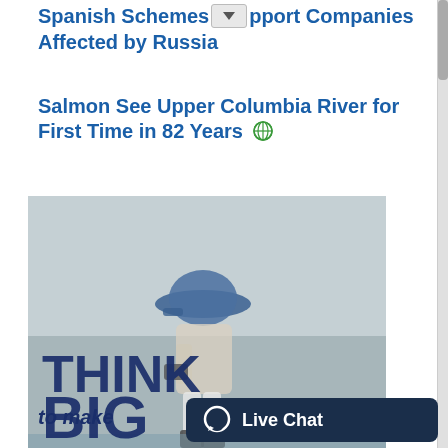Spanish Schemes [dropdown] pport Companies Affected by Russia
Salmon See Upper Columbia River for First Time in 82 Years
[Figure (photo): A person wearing a blue hat and light clothing standing outdoors near water, with an advertisement overlay reading 'THINK BIG to make']
Live Chat